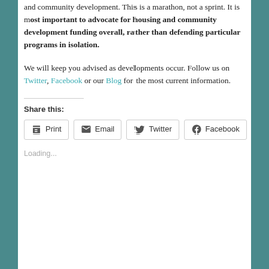and community development. This is a marathon, not a sprint. It is most important to advocate for housing and community development funding overall, rather than defending particular programs in isolation.
We will keep you advised as developments occur. Follow us on Twitter, Facebook or our Blog for the most current information.
Share this:
Print | Email | Twitter | Facebook
Loading...